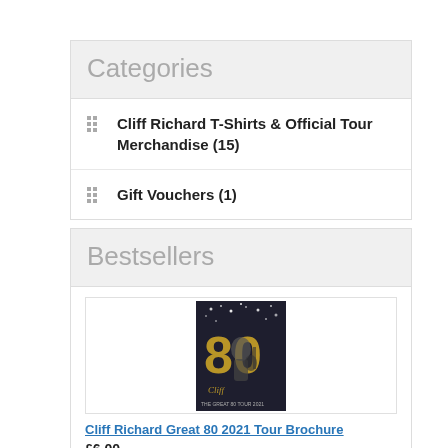Categories
Cliff Richard T-Shirts & Official Tour Merchandise (15)
Gift Vouchers (1)
Bestsellers
[Figure (photo): Product image of Cliff Richard Great 80 2021 Tour Brochure - dark background with performer and '80' text in gold]
Cliff Richard Great 80 2021 Tour Brochure
£6.00
[Figure (photo): Product image of a black t-shirt with gold '80' graphic print]